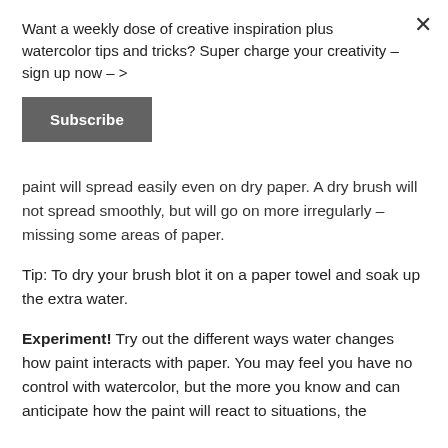Want a weekly dose of creative inspiration plus watercolor tips and tricks? Super charge your creativity – sign up now – >
Subscribe
paint will spread easily even on dry paper. A dry brush will not spread smoothly, but will go on more irregularly – missing some areas of paper.
Tip: To dry your brush blot it on a paper towel and soak up the extra water.
Experiment! Try out the different ways water changes how paint interacts with paper. You may feel you have no control with watercolor, but the more you know and can anticipate how the paint will react to situations, the